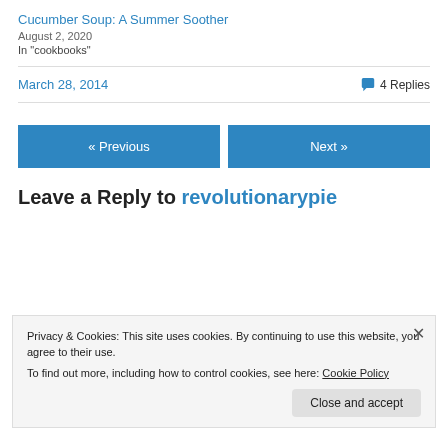Cucumber Soup: A Summer Soother
August 2, 2020
In "cookbooks"
March 28, 2014   4 Replies
« Previous
Next »
Leave a Reply to revolutionarypie
Privacy & Cookies: This site uses cookies. By continuing to use this website, you agree to their use.
To find out more, including how to control cookies, see here: Cookie Policy
Close and accept